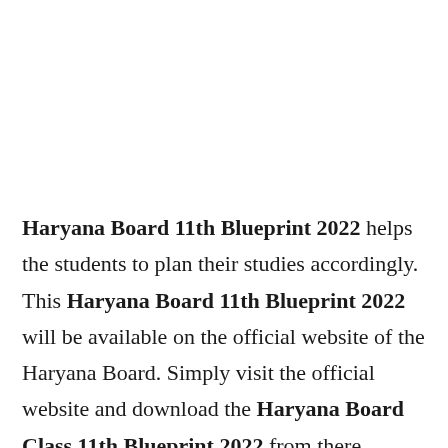Haryana Board 11th Blueprint 2022 helps the students to plan their studies accordingly. This Haryana Board 11th Blueprint 2022 will be available on the official website of the Haryana Board. Simply visit the official website and download the Haryana Board Class 11th Blueprint 2022 from there.